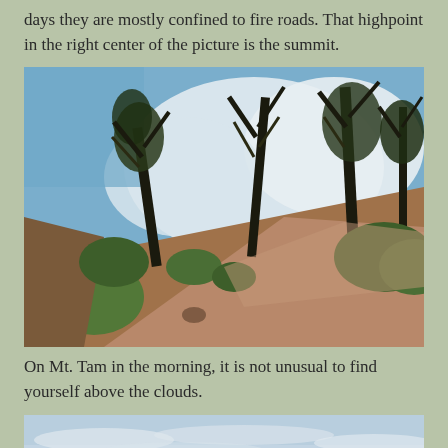days they are mostly confined to fire roads. That highpoint in the right center of the picture is the summit.
[Figure (photo): A dirt fire road ascending a hill on Mt. Tam, flanked by trees and shrubs, with a large white cloud visible in the blue sky above.]
On Mt. Tam in the morning, it is not unusual to find yourself above the clouds.
[Figure (photo): A partial view of sky and clouds, bottom portion of another photograph on Mt. Tam showing the view from above the clouds.]